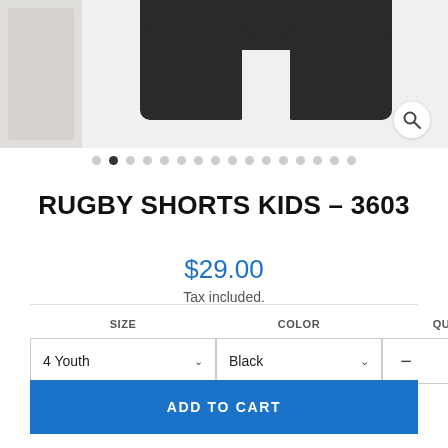[Figure (photo): Product image of Rugby Shorts Kids - 3603 in black, showing the shorts from above with a small thumbnail panel on the left and a magnify icon button in the lower right corner.]
RUGBY SHORTS KIDS - 3603
$29.00
Tax included.
SIZE: 4Youth, COLOR: Black, QUANTITY: 1
ADD TO CART